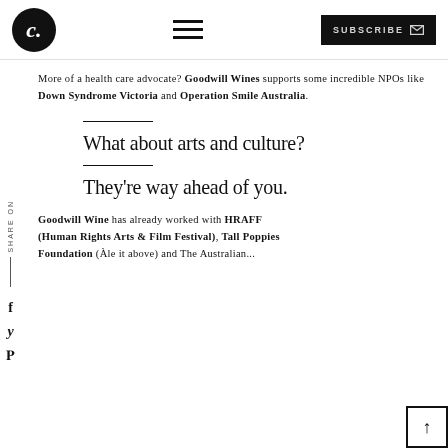C. [logo] | hamburger menu | SUBSCRIBE
More of a health care advocate? Goodwill Wines supports some incredible NPOs like Down Syndrome Victoria and Operation Smile Australia.
What about arts and culture?
They're way ahead of you.
Goodwill Wine has already worked with HRAFF (Human Rights Arts & Film Festival), Tall Poppies Foundation (Àle it above) and The Australian Architecture...